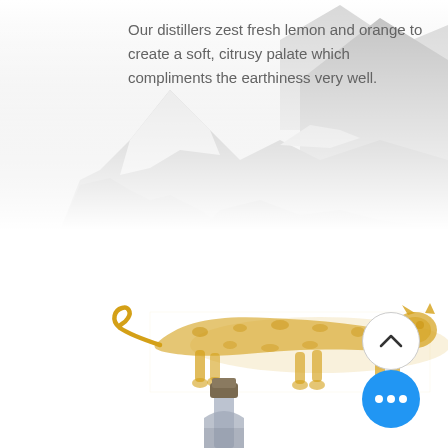[Figure (photo): Black and white mountain landscape photo with snow-capped peaks and misty valleys.]
Our distillers zest fresh lemon and orange to create a soft, citrusy palate which compliments the earthiness very well.
[Figure (illustration): Golden/yellow illustrated snow leopard walking to the right, rendered in a sketchy stamp style.]
[Figure (photo): Top portion of a bottle (neck and cap) visible at the bottom center of the page.]